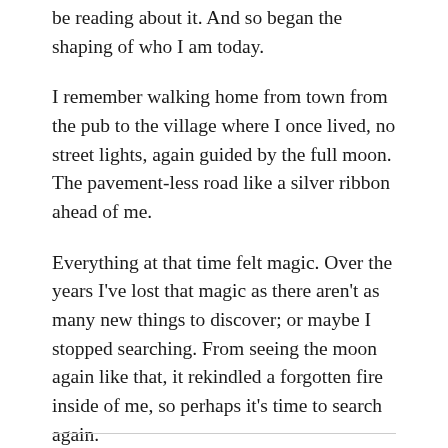be reading about it. And so began the shaping of who I am today.
I remember walking home from town from the pub to the village where I once lived, no street lights, again guided by the full moon. The pavement-less road like a silver ribbon ahead of me.
Everything at that time felt magic. Over the years I've lost that magic as there aren't as many new things to discover; or maybe I stopped searching. From seeing the moon again like that, it rekindled a forgotten fire inside of me, so perhaps it's time to search again.